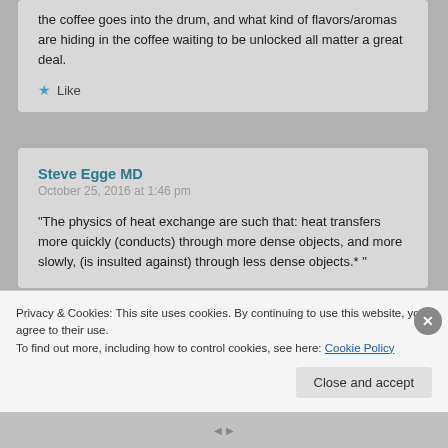the coffee goes into the drum, and what kind of flavors/aromas are hiding in the coffee waiting to be unlocked all matter a great deal.
Like
Steve Egge MD
October 25, 2016 at 1:46 pm
"The physics of heat exchange are such that: heat transfers more quickly (conducts) through more dense objects, and more slowly, (is insulted against) through less dense objects.* "
Privacy & Cookies: This site uses cookies. By continuing to use this website, you agree to their use.
To find out more, including how to control cookies, see here: Cookie Policy
Close and accept